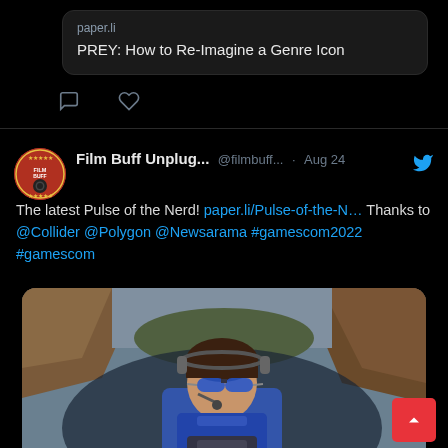paper.li
PREY: How to Re-Imagine a Genre Icon
Film Buff Unplug... @filmbuff... · Aug 24
The latest Pulse of the Nerd! paper.li/Pulse-of-the-N… Thanks to @Collider @Polygon @Newsarama #gamescom2022 #gamescom
[Figure (photo): Person in pilot gear with blue sunglasses and headset in a cockpit, aerial canyon view in background]
paper.li
I flew a stunt plane and learned the hard way why the 'Top Gun: Maverick' cast puked